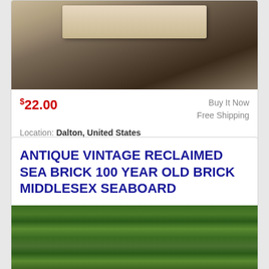[Figure (photo): Photo of an antique brick or stone piece on a dark surface]
$22.00
Buy It Now
Free Shipping
Location: Dalton, United States
ITS IN GOOD CONDITION. GS 5C -1121.
ANTIQUE VINTAGE RECLAIMED SEA BRICK 100 YEAR OLD BRICK MIDDLESEX SEABOARD
[Figure (photo): Photo of old bricks surrounded by green weeds and grass]